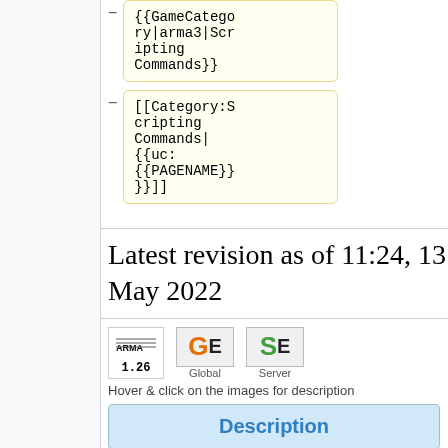[Figure (screenshot): Code block showing {{GameCategory|arma3|Scripting Commands}}]
[Figure (screenshot): Code block showing [[Category:Scripting Commands|{{uc:{{PAGENAME}}}}]]]
Latest revision as of 11:24, 13 May 2022
[Figure (infographic): ARMA 1.26 badge, GE Global badge, SE Server badge with text: Hover & click on the images for description]
Description
| Description: | Sets a time |
| --- | --- |